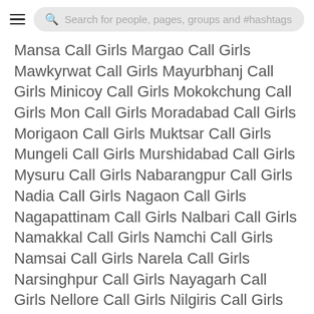Search for people, pages, groups and #hashtags
Mansa Call Girls Margao Call Girls Mawkyrwat Call Girls Mayurbhanj Call Girls Minicoy Call Girls Mokokchung Call Girls Mon Call Girls Moradabad Call Girls Morigaon Call Girls Muktsar Call Girls Mungeli Call Girls Murshidabad Call Girls Mysuru Call Girls Nabarangpur Call Girls Nadia Call Girls Nagaon Call Girls Nagapattinam Call Girls Nalbari Call Girls Namakkal Call Girls Namchi Call Girls Namsai Call Girls Narela Call Girls Narsinghpur Call Girls Nayagarh Call Girls Nellore Call Girls Nilgiris Call Girls Niwari Call Girls Noklak Call Girls Nongpoh Call Girls Nongstoin Call Girls North Parganas Call Girls Nuapada Call Girls
This website uses cookies to ensure you get the best experience on our website. Learn More
Got It!